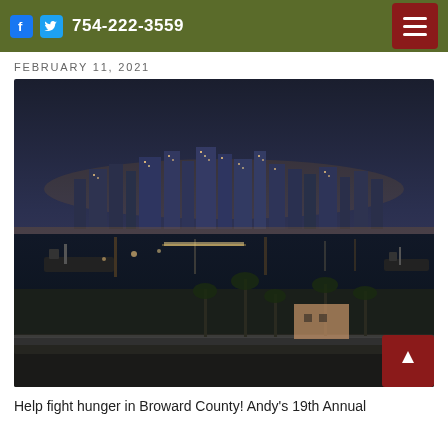754-222-3559
FEBRUARY 11, 2021
[Figure (photo): Nighttime aerial photo of a marina and city skyline (Fort Lauderdale / Broward County area), with lights reflecting on water, palm trees, yachts, and a city skyline in background.]
Help fight hunger in Broward County! Andy's 19th Annual